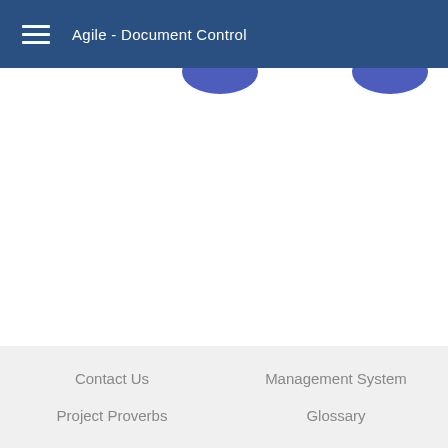Agile - Document Control
[Figure (screenshot): Partial view of blue circular icons from a web application UI, partially cut off at the top of the content area]
Contact Us   Management System   Project Proverbs   Glossary